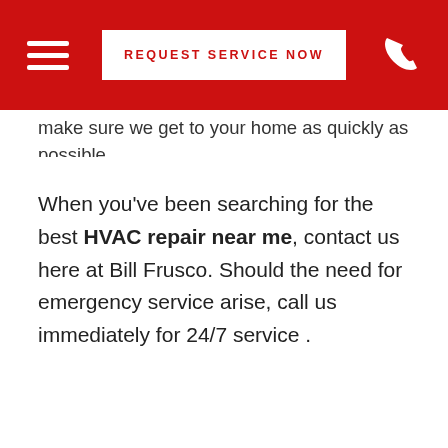REQUEST SERVICE NOW
make sure we get to your home as quickly as possible.
When you've been searching for the best HVAC repair near me, contact us here at Bill Frusco. Should the need for emergency service arise, call us immediately for 24/7 service .